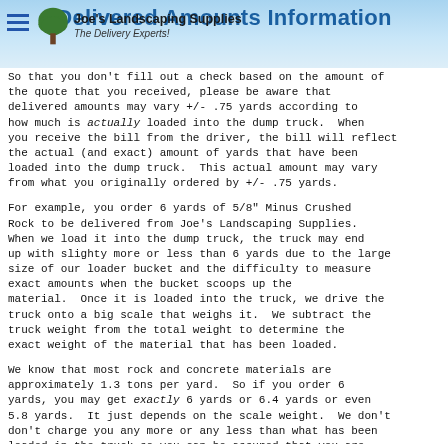Delivered Amounts Information
So that you don’t fill out a check based on the amount of the quote that you received, please be aware that delivered amounts may vary +/- .75 yards according to how much is actually loaded into the dump truck. When you receive the bill from the driver, the bill will reflect the actual (and exact) amount of yards that have been loaded into the dump truck. This actual amount may vary from what you originally ordered by +/- .75 yards.
For example, you order 6 yards of 5/8” Minus Crushed Rock to be delivered from Joe’s Landscaping Supplies. When we load it into the dump truck, the truck may end up with slighty more or less than 6 yards due to the large size of our loader bucket and the difficulty to measure exact amounts when the bucket scoops up the material. Once it is loaded into the truck, we drive the truck onto a big scale that weighs it. We subtract the truck weight from the total weight to determine the exact weight of the material that has been loaded.
We know that most rock and concrete materials are approximately 1.3 tons per yard. So if you order 6 yards, you may get exactly 6 yards or 6.4 yards or even 5.8 yards. It just depends on the scale weight. We don’t don’t charge you any more or any less than what has been loaded in the truck so you can be assured that you are getting exactly what you are paying for! Which we can’t say our competitors all do. We are very honest and precise and will adjust your invoice to reflect the actual amount you received and you pay for only that amount!